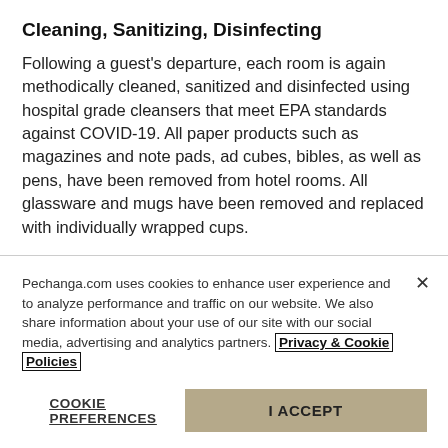Cleaning, Sanitizing, Disinfecting
Following a guest's departure, each room is again methodically cleaned, sanitized and disinfected using hospital grade cleansers that meet EPA standards against COVID-19. All paper products such as magazines and note pads, ad cubes, bibles, as well as pens, have been removed from hotel rooms. All glassware and mugs have been removed and replaced with individually wrapped cups.
Pechanga.com uses cookies to enhance user experience and to analyze performance and traffic on our website. We also share information about your use of our site with our social media, advertising and analytics partners. Privacy & Cookie Policies
COOKIE PREFERENCES
I ACCEPT